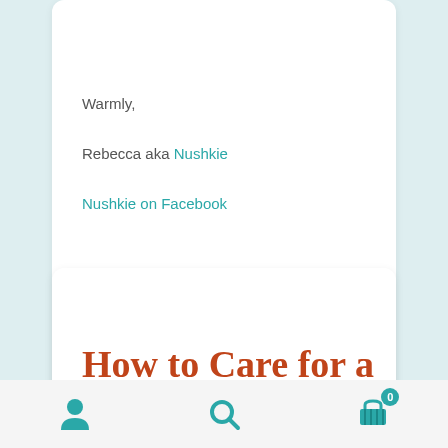Warmly,
Rebecca aka Nushkie
Nushkie on Facebook
How to Care for a Waldorf Style Natural